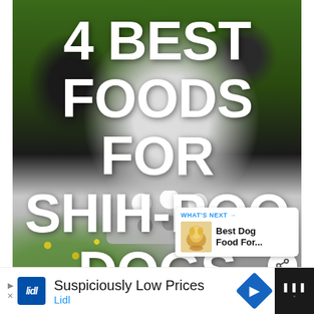[Figure (photo): A black and white Shih-Poo dog sitting on grass with yellow flowers, looking at camera with a pink collar. Large white bold text overlaid reading '4 BEST FOODS FOR SHIH-POO DOGS'. Heart and share icon buttons on right side. A 'What's Next: Best Dog Food For...' card in bottom right corner. A dog food bowl silhouette at the bottom.]
4 BEST FOODS FOR SHIH-POO DOGS
[Figure (infographic): What's Next card showing: 'WHAT'S NEXT →' in blue, then 'Best Dog Food For...' text with a small image of a dog]
Suspiciously Low Prices
Lidl